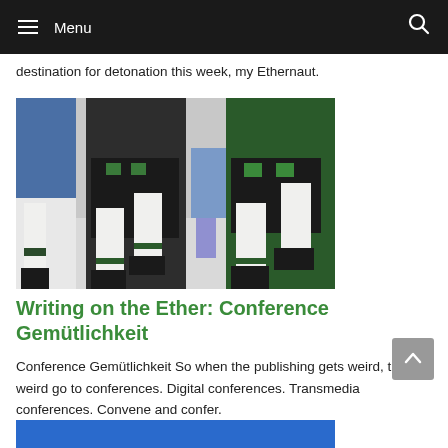Menu
destination for detonation this week, my Ethernaut.
[Figure (photo): People wearing traditional Bavarian lederhosen dancing, close-up of legs and feet on a concrete surface]
Writing on the Ether: Conference Gemütlichkeit
Conference Gemütlichkeit So when the publishing gets weird, the weird go to conferences. Digital conferences. Transmedia conferences. Convene and confer.
[Figure (photo): Partial view of a blue background image at the bottom of the page]